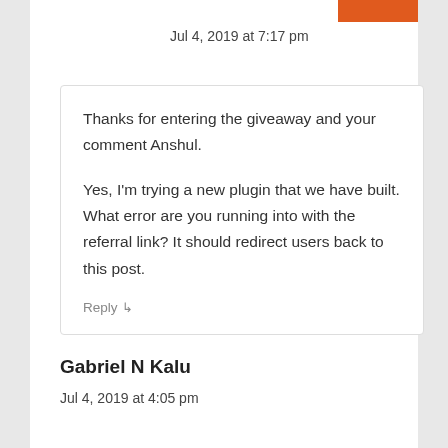Jul 4, 2019 at 7:17 pm
Thanks for entering the giveaway and your comment Anshul.

Yes, I'm trying a new plugin that we have built. What error are you running into with the referral link? It should redirect users back to this post.
Reply
Gabriel N Kalu
Jul 4, 2019 at 4:05 pm